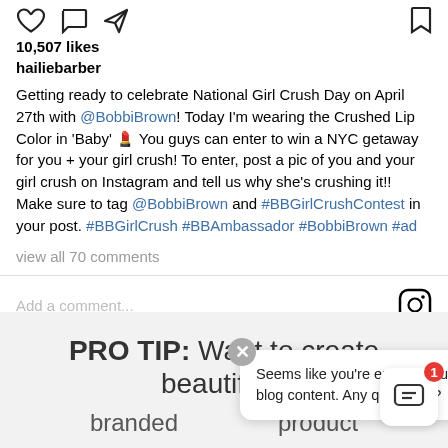10,507 likes
hailiebarber
Getting ready to celebrate National Girl Crush Day on April 27th with @BobbiBrown! Today I'm wearing the Crushed Lip Color in 'Baby' 💄 You guys can enter to win a NYC getaway for you + your girl crush! To enter, post a pic of you and your girl crush on Instagram and tell us why she's crushing it!! Make sure to tag @BobbiBrown and #BBGirlCrushContest in your post. #BBGirlCrush #BBAmbassador #BobbiBrown #ad
view all 70 comments
Add a comment...
PRO TIP: Want to create beautifully branded
Seems like you're enjoying our blog content. Any questions?